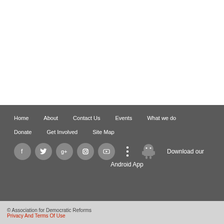Home  About  Contact Us  Events  What we do  Donate  Get Involved  Site Map  Download our Android App
© Association for Democratic Reforms
Privacy And Terms Of Use